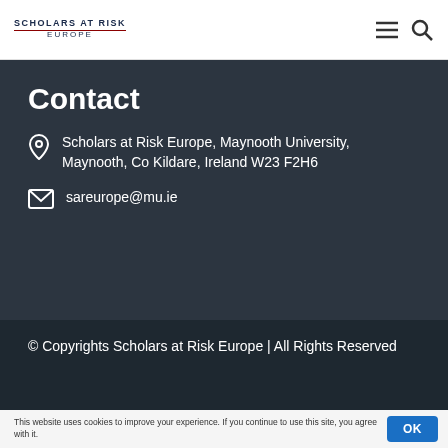Scholars at Risk Europe
Contact
Scholars at Risk Europe, Maynooth University, Maynooth, Co Kildare, Ireland W23 F2H6
sareurope@mu.ie
© Copyrights Scholars at Risk Europe | All Rights Reserved
This website uses cookies to improve your experience. If you continue to use this site, you agree with it.